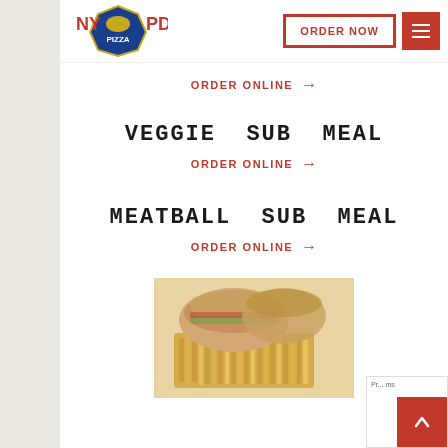[Figure (logo): NYPD Pizza restaurant logo with police badge icon]
ORDER NOW
ORDER ONLINE →
VEGGIE SUB MEAL
ORDER ONLINE →
MEATBALL SUB MEAL
ORDER ONLINE →
[Figure (photo): Photo of a sub sandwich meal with french fries on a wooden board]